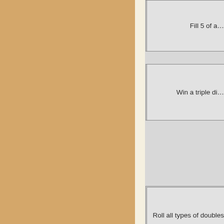Fill 5 of a...
Win a triple di...
Roll all types of doubles
Get an established BKR ...
Get an established ...